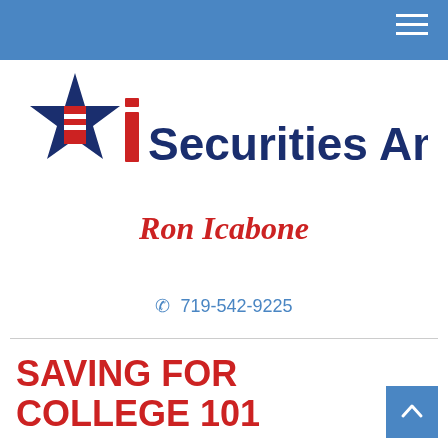[Figure (logo): Securities America logo with star and 'i' emblem in navy blue and red, followed by 'Securities America' text in navy blue]
Ron Icabone
719-542-9225
SAVING FOR COLLEGE 101